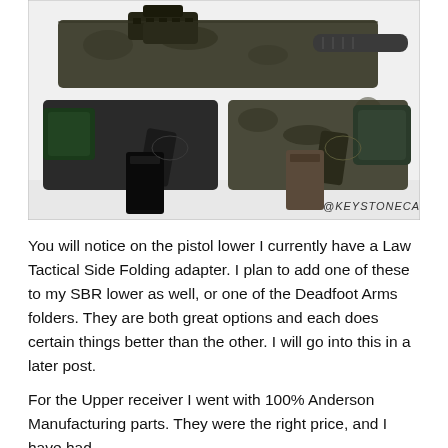[Figure (photo): Photo of AR-style firearm components laid out on a white surface: upper receiver with optics and suppressor at top, two lower receivers side by side below (one black with green stock and pistol grip, one in camouflage pattern with brace). Watermark '@KEYSTONECARRY' in bottom right.]
You will notice on the pistol lower I currently have a Law Tactical Side Folding adapter. I plan to add one of these to my SBR lower as well, or one of the Deadfoot Arms folders. They are both great options and each does certain things better than the other. I will go into this in a later post.
For the Upper receiver I went with 100% Anderson Manufacturing parts. They were the right price, and I have had 100% reliability with this upper. An current 50-100 round...